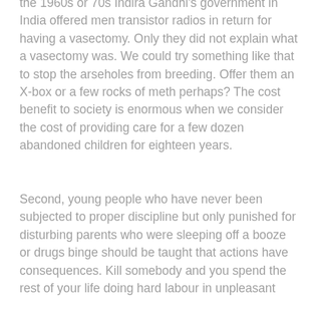the 1960s or 70s Indira Gandhi’s government in India offered men transistor radios in return for having a vasectomy. Only they did not explain what a vasectomy was. We could try something like that to stop the arseholes from breeding. Offer them an X-box or a few rocks of meth perhaps? The cost benefit to society is enormous when we consider the cost of providing care for a few dozen abandoned children for eighteen years.
Second, young people who have never been subjected to proper discipline but only punished for disturbing parents who were sleeping off a booze or drugs binge should be taught that actions have consequences. Kill somebody and you spend the rest of your life doing hard labour in unpleasant